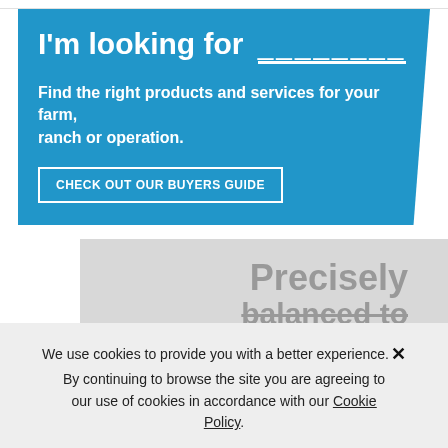I'm looking for ________
Find the right products and services for your farm, ranch or operation.
CHECK OUT OUR BUYERS GUIDE
[Figure (screenshot): Partially visible grey box with large grey text reading 'Precisely' and 'balanced to']
We use cookies to provide you with a better experience. By continuing to browse the site you are agreeing to our use of cookies in accordance with our Cookie Policy.